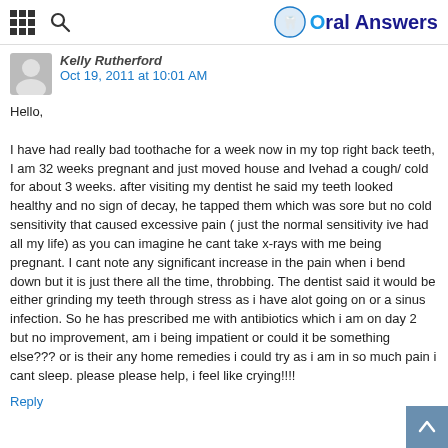Oral Answers
Kelly Rutherford
Oct 19, 2011 at 10:01 AM
Hello,

I have had really bad toothache for a week now in my top right back teeth, I am 32 weeks pregnant and just moved house and Ivehad a cough/ cold for about 3 weeks. after visiting my dentist he said my teeth looked healthy and no sign of decay, he tapped them which was sore but no cold sensitivity that caused excessive pain ( just the normal sensitivity ive had all my life) as you can imagine he cant take x-rays with me being pregnant. I cant note any significant increase in the pain when i bend down but it is just there all the time, throbbing. The dentist said it would be either grinding my teeth through stress as i have alot going on or a sinus infection. So he has prescribed me with antibiotics which i am on day 2 but no improvement, am i being impatient or could it be something else??? or is their any home remedies i could try as i am in so much pain i cant sleep. please please help, i feel like crying!!!!
Reply